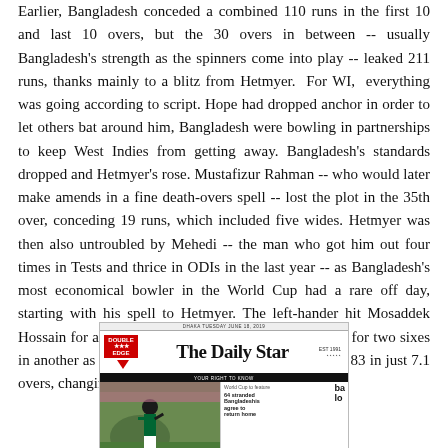Earlier, Bangladesh conceded a combined 110 runs in the first 10 and last 10 overs, but the 30 overs in between -- usually Bangladesh's strength as the spinners come into play -- leaked 211 runs, thanks mainly to a blitz from Hetmyer. For WI, everything was going according to script. Hope had dropped anchor in order to let others bat around him, Bangladesh were bowling in partnerships to keep West Indies from getting away. Bangladesh's standards dropped and Hetmyer's rose. Mustafizur Rahman -- who would later make amends in a fine death-overs spell -- lost the plot in the 35th over, conceding 19 runs, which included five wides. Hetmyer was then also untroubled by Mehedi -- the man who got him out four times in Tests and thrice in ODIs in the last year -- as Bangladesh's most economical bowler in the World Cup had a rare off day, starting with his spell to Hetmyer. The left-hander hit Mosaddek Hossain for a six and a four in one over and Saifuddin for two sixes in another as the fourth-wicket partnership rocketed to 83 in just 7.1 overs, changing the course of the innings.
[Figure (screenshot): Screenshot of The Daily Star newspaper front page, showing the newspaper header with logo, date bar, and a cricket photo with partially visible headlines]